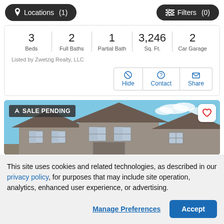Locations (1)  Filters (0)
| Beds | Full Baths | Partial Bath | Sq. Ft. | Car Garage |
| --- | --- | --- | --- | --- |
| 3 | 2 | 1 | 3,246 | 2 |
Listed by Zwetzig Realty, LLC
Hide  Contact  Share
[Figure (photo): House exterior photo showing rooftops of suburban homes against a blue sky with clouds, with a SALE PENDING badge overlay]
This site uses cookies and related technologies, as described in our privacy policy, for purposes that may include site operation, analytics, enhanced user experience, or advertising.
Manage Preferences  Accept